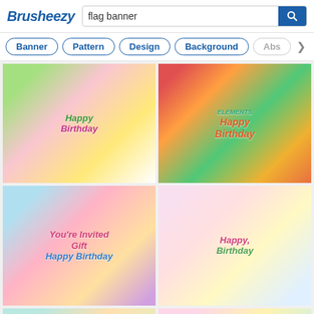Brusheezy
flag banner [search query]
Banner
Pattern
Design
Background
Abst...
[Figure (illustration): Happy Birthday card with cake, balloons, party hat, gifts on colorful patterned background]
[Figure (illustration): Happy Birthday Elements card with party hats, lollipops, cake, bunting flags on colorful background]
[Figure (illustration): You're Invited Happy Birthday card with gift, balloons, cake, candles on light blue background]
[Figure (illustration): Happy Birthday card with cake, balloons, party hats, flowers and bunting flags on pink/yellow background]
[Figure (illustration): Happy birthday card with balloons, bunting flags, cake on teal/cream background]
[Figure (illustration): Happy birthday card with rainbow, balloons, bunting flags on pastel background]